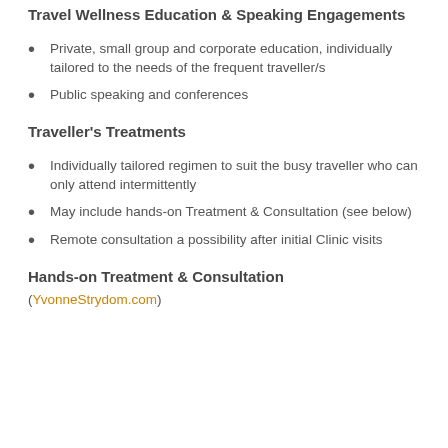Travel Wellness Education & Speaking Engagements
Private, small group and corporate education, individually tailored to the needs of the frequent traveller/s
Public speaking and conferences
Traveller's Treatments
Individually tailored regimen to suit the busy traveller who can only attend intermittently
May include hands-on Treatment & Consultation (see below)
Remote consultation a possibility after initial Clinic visits
Hands-on Treatment & Consultation
(YvonneStrydom.com)